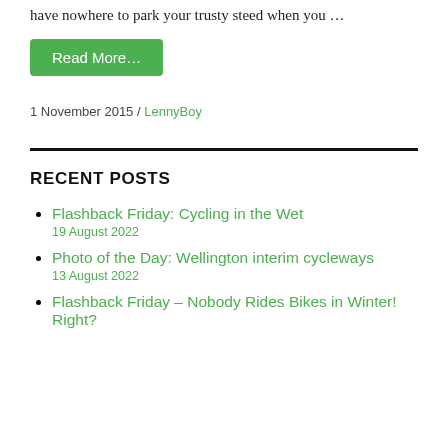have nowhere to park your trusty steed when you …
Read More…
1 November 2015 / LennyBoy
RECENT POSTS
Flashback Friday: Cycling in the Wet
19 August 2022
Photo of the Day: Wellington interim cycleways
13 August 2022
Flashback Friday – Nobody Rides Bikes in Winter! Right?